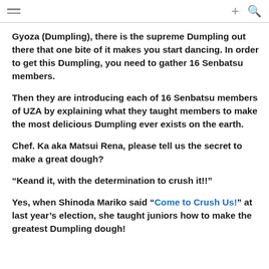≡  +  🔍
Gyoza (Dumpling), there is the supreme Dumpling out there that one bite of it makes you start dancing. In order to get this Dumpling, you need to gather 16 Senbatsu members.
Then they are introducing each of 16 Senbatsu members of UZA by explaining what they taught members to make the most delicious Dumpling ever exists on the earth.
Chef. Ka aka Matsui Rena, please tell us the secret to make a great dough?
“Keand it, with the determination to crush it!!”
Yes, when Shinoda Mariko said “Come to Crush Us!” at last year’s election, she taught juniors how to make the greatest Dumpling dough!